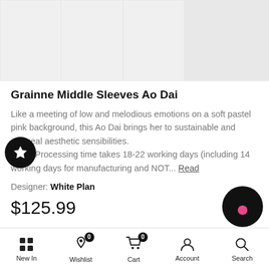[Figure (photo): Product thumbnail image strip showing multiple views of the Grainne Middle Sleeves Ao Dai garment, partially visible at top of page]
Grainne Middle Sleeves Ao Dai
Like a meeting of low and melodious emotions on a soft pastel pink background, this Ao Dai brings her to sustainable and ethereal aesthetic sensibilities.
Note:*Processing time takes 18-22 working days (including 14 working days for manufacturing and NOT... Read
Designer: White Plan
$125.99
New In  Wishlist 0  Cart 0  Account  Search